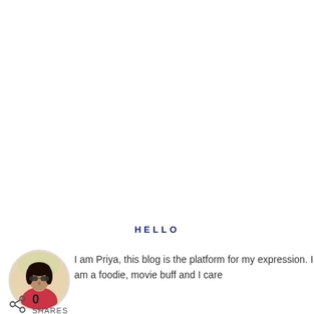HELLO
[Figure (photo): Circular avatar photo of a woman wearing sunglasses, partially visible, with a light background]
I am Priya, this blog is the platform for my expression. I am a foodie, movie buff and I care
0 SHARES